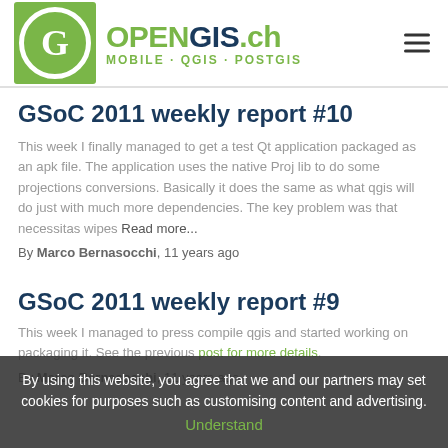OPENGIS.ch — MOBILE · QGIS · POSTGIS
GSoC 2011 weekly report #10
This week I finally managed to get a test Qt application packaged as an apk file. The application uses the native Proj lib to do some projections conversions. Basically it does the same as what qgis will do just with much more dependencies. The key problem was that necessitas wipes Read more...
By Marco Bernasocchi, 11 years ago
GSoC 2011 weekly report #9
This week I managed to press compile qgis and started working on packaging it. See the previous post for more details.
By Marco Bernasocchi, 11 years ago
By using this website, you agree that we and our partners may set cookies for purposes such as customising content and advertising. Understand